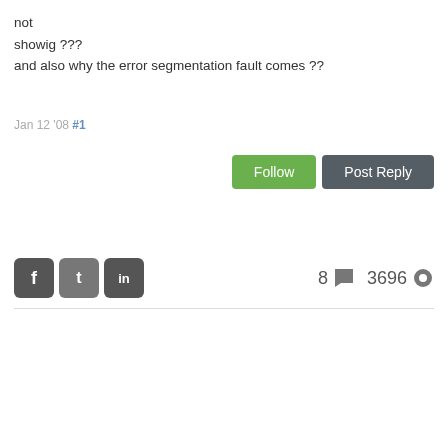not
showig ???
and also why the error segmentation fault comes ??
Jan 12 '08 #1
[Figure (other): Follow button (green) and Post Reply button (dark gray)]
[Figure (other): Social share icons (Facebook, Twitter, LinkedIn) and post stats: 8 comments, 3696 views]
8   3696